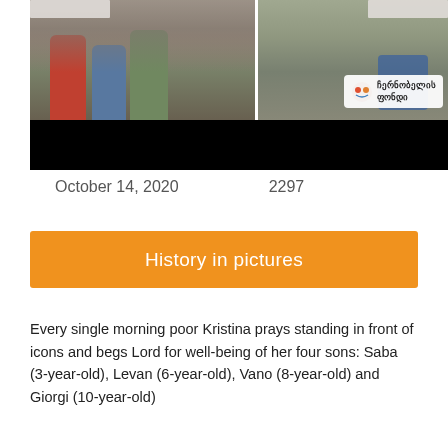[Figure (photo): Two photos side by side: left shows children standing in front of a stone wall, right shows a person crouching near the ground with a Georgian charity logo overlay (Chernobyl Fund)]
October 14, 2020    2297
History in pictures
Every single morning poor Kristina prays standing in front of icons and begs Lord for well-being of her four sons: Saba (3-year-old), Levan (6-year-old), Vano (8-year-old) and Giorgi (10-year-old)